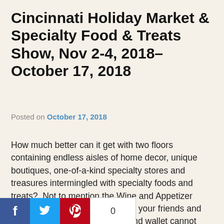Cincinnati Holiday Market & Specialty Food & Treats Show, Nov 2-4, 2018–October 17, 2018
Posted on October 17, 2018
How much better can it get with two floors containing endless aisles of home decor, unique boutiques, one-of-a-kind specialty stores and treasures intermingled with specialty foods and treats?  Not to mention the Wine and Appetizer lounge where you can relax with your friends and compare finds when your feet and wallet cannot take another minute of looking and spending.  This is the Cincinnati Holiday Market and The Specialty Food and Treats Show at Duke Energy Center in downtown Cincinnati scheduled for November 2, 3, and 4, 2018.
[Figure (other): Social sharing buttons: Facebook, Twitter, Pinterest icons with share count of 0]